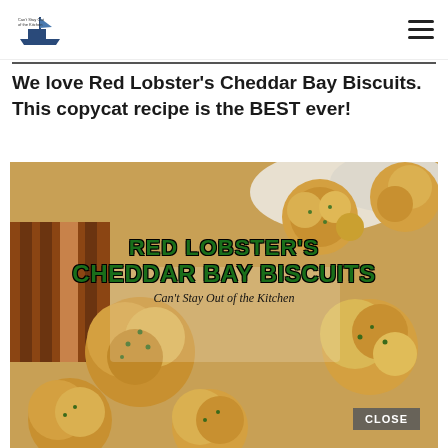Can't Stay Out of the Kitchen [logo] [hamburger menu]
We love Red Lobster's Cheddar Bay Biscuits. This copycat recipe is the BEST ever!
[Figure (photo): Photo of Red Lobster's Cheddar Bay Biscuits with overlaid text 'RED LOBSTER'S CHEDDAR BAY BISCUITS – Can't Stay Out of the Kitchen', and a 'CLOSE' button overlay at bottom right.]